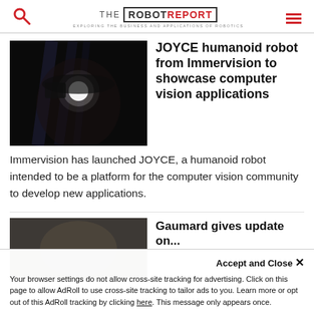THE ROBOT REPORT — EXPLORING THE BUSINESS AND APPLICATIONS OF ROBOTICS
[Figure (photo): Close-up of a humanoid robot face with glowing eye, dark background]
JOYCE humanoid robot from Immervision to showcase computer vision applications
Immervision has launched JOYCE, a humanoid robot intended to be a platform for the computer vision community to develop new applications.
[Figure (photo): Partially visible second article image at bottom of page]
Gaumard gives update on...
Accept and Close ×
Your browser settings do not allow cross-site tracking for advertising. Click on this page to allow AdRoll to use cross-site tracking to tailor ads to you. Learn more or opt out of this AdRoll tracking by clicking here. This message only appears once.